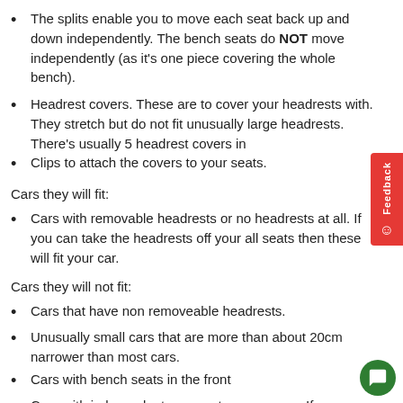The splits enable you to move each seat back up and down independently. The bench seats do NOT move independently (as it's one piece covering the whole bench).
Headrest covers. These are to cover your headrests with. They stretch but do not fit unusually large headrests. There's usually 5 headrest covers in
Clips to attach the covers to your seats.
Cars they will fit:
Cars with removable headrests or no headrests at all. If you can take the headrests off your all seats then these will fit your car.
Cars they will not fit:
Cars that have non removeable headrests.
Unusually small cars that are more than about 20cm narrower than most cars.
Cars with bench seats in the front
Cars with independent rear seats on one row. If your rear seats can slide back and forth independently of